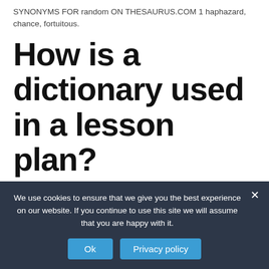SYNONYMS FOR random ON THESAURUS.COM 1 haphazard, chance, fortuitous.
How is a dictionary used in a lesson plan?
Pass out dictionaries to each student or each group of students. Explain that each student or group is going to look up a word using the guide words at the top of each
We use cookies to ensure that we give you the best experience on our website. If you continue to use this site we will assume that you are happy with it.